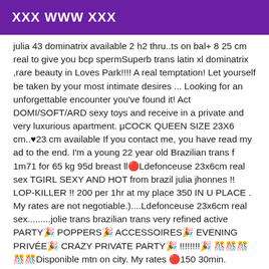XXX WWW XXX
julia 43 dominatrix available 2 h2 thru..ts on bal+ 8 25 cm real to give you bcp spermSuperb trans latin xl dominatrix ,rare beauty in Loves Park!!!! A real temptation! Let yourself be taken by your most intimate desires ... Looking for an unforgettable encounter you've found it! Act DOMI/SOFT/ARD sexy toys and receive in a private and very luxurious apartment. μCOCK QUEEN SIZE 23X6 cm..♥23 cm available If you contact me, you have read my ad to the end. I'm a young 22 year old Brazilian trans f 1m71 for 65 kg 95d breast ll🔴Ldefonceuse 23x6cm real sex TGIRL SEXY AND HOT from brazil julia jhonnes !! LOP-KILLER !! 200 per 1hr at my place 350 IN U PLACE . My rates are not negotiable.)....Ldefonceuse 23x6cm real sex.........jolie trans brazilian trans very refined active PARTY🎉 POPPERS🎉 ACCESSOIRES🎉 EVENING PRIVÉE🎉 CRAZY PRIVATE PARTY🎉 !!!!!!!!🎉 🎊🎊🎊🎊🎊Disponible mtn on city. My rates 🔴150 30min. Massage blowjob 69 caress